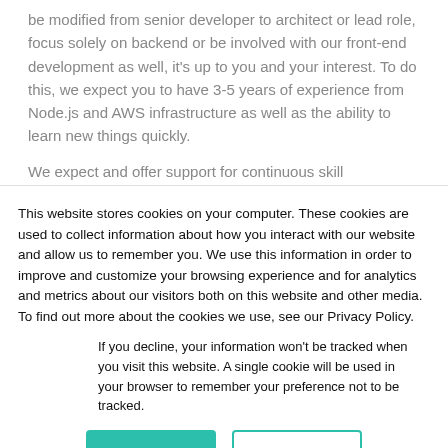be modified from senior developer to architect or lead role, focus solely on backend or be involved with our front-end development as well, it's up to you and your interest. To do this, we expect you to have 3-5 years of experience from Node.js and AWS infrastructure as well as the ability to learn new things quickly.
We expect and offer support for continuous skill development.
Note: the office flexibility option for staying in company is quite...
This website stores cookies on your computer. These cookies are used to collect information about how you interact with our website and allow us to remember you. We use this information in order to improve and customize your browsing experience and for analytics and metrics about our visitors both on this website and other media. To find out more about the cookies we use, see our Privacy Policy.
If you decline, your information won't be tracked when you visit this website. A single cookie will be used in your browser to remember your preference not to be tracked.